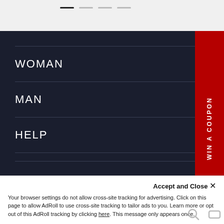[Figure (screenshot): Navigation indicator dots — one dark active dot and three lighter inactive dots]
WOMAN
MAN
HELP
COMPANY
WIN A COUPON
Accept and Close ✕
Your browser settings do not allow cross-site tracking for advertising. Click on this page to allow AdRoll to use cross-site tracking to tailor ads to you. Learn more or opt out of this AdRoll tracking by clicking here. This message only appears once.